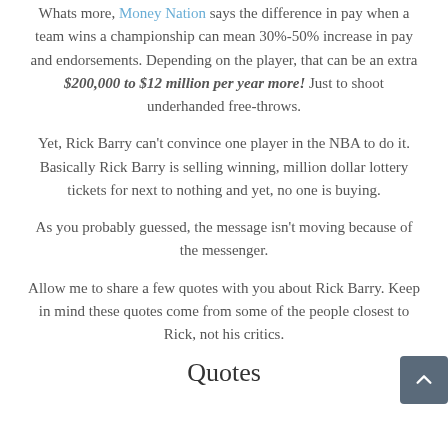Whats more, Money Nation says the difference in pay when a team wins a championship can mean 30%-50% increase in pay and endorsements. Depending on the player, that can be an extra $200,000 to $12 million per year more! Just to shoot underhanded free-throws.
Yet, Rick Barry can't convince one player in the NBA to do it. Basically Rick Barry is selling winning, million dollar lottery tickets for next to nothing and yet, no one is buying.
As you probably guessed, the message isn't moving because of the messenger.
Allow me to share a few quotes with you about Rick Barry. Keep in mind these quotes come from some of the people closest to Rick, not his critics.
Quotes